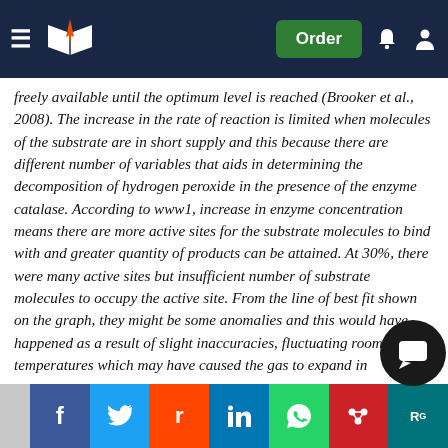Navigation bar with logo and Order button
freely available until the optimum level is reached (Brooker et al., 2008). The increase in the rate of reaction is limited when molecules of the substrate are in short supply and this because there are different number of variables that aids in determining the decomposition of hydrogen peroxide in the presence of the enzyme catalase. According to www1, increase in enzyme concentration means there are more active sites for the substrate molecules to bind with and greater quantity of products can be attained. At 30%, there were many active sites but insufficient number of substrate molecules to occupy the active site. From the line of best fit shown on the graph, they might be some anomalies and this would have happened as a result of slight inaccuracies, fluctuating room temperatures which may have caused the gas to expand in